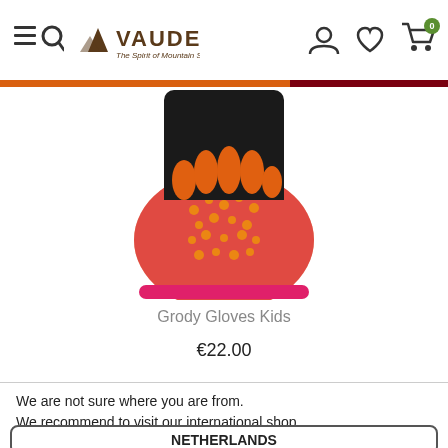VAUDE – The Spirit of Mountain Sports
[Figure (photo): Partial view of colorful kids cycling gloves – orange/pink pattern with black cuff]
Grody Gloves Kids
€22.00
We are not sure where you are from. We recommend to visit our international shop.
NETHERLANDS
INTERNATIONAL